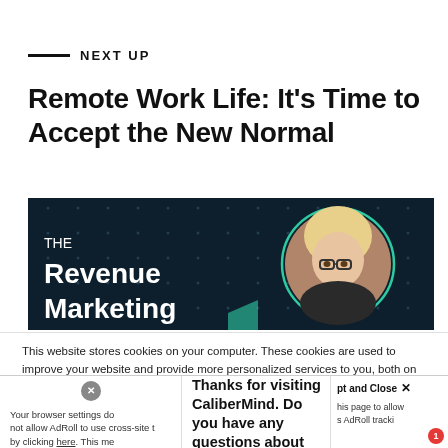NEXT UP
Remote Work Life: It's Time to Accept the New Normal
[Figure (illustration): Dark navy banner with grid dot pattern. Text reading 'THE Revenue Marketing' visible on left. Circular portrait of a blonde woman with glasses on right side.]
This website stores cookies on your computer. These cookies are used to improve your website and provide more personalized services to you, both on this website and through other media. To find out more about the cookies we use, see our Privacy Policies.
Your browser settings do not allow AdRoll to use cross-site t by clicking here. This me
Hi there. 👋 Thanks for visiting CaliberMind. Do you have any questions about B2B Marketing
pt and Close ✕  his page to allow s AdRoll tracki